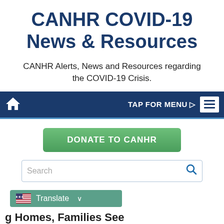CANHR COVID-19 News & Resources
CANHR Alerts, News and Resources regarding the COVID-19 Crisis.
[Figure (screenshot): Navigation bar with home icon on left, 'TAP FOR MENU ▷' text and hamburger menu icon on right, dark navy background]
[Figure (screenshot): Green gradient 'DONATE TO CANHR' button]
[Figure (screenshot): Search input box with placeholder text 'Search' and blue search icon on right]
[Figure (screenshot): Translate button with US flag icon and dropdown arrow, teal/green background]
g Homes, Families See